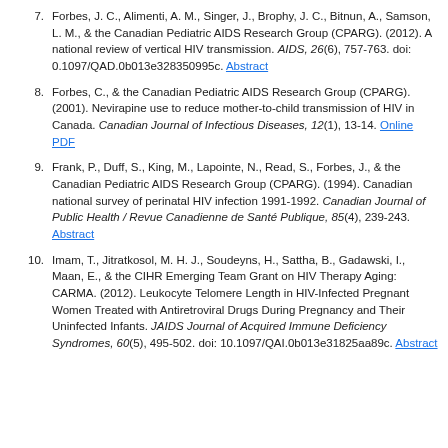7. Forbes, J. C., Alimenti, A. M., Singer, J., Brophy, J. C., Bitnun, A., Samson, L. M., & the Canadian Pediatric AIDS Research Group (CPARG). (2012). A national review of vertical HIV transmission. AIDS, 26(6), 757-763. doi: 0.1097/QAD.0b013e328350995c. Abstract
8. Forbes, C., & the Canadian Pediatric AIDS Research Group (CPARG). (2001). Nevirapine use to reduce mother-to-child transmission of HIV in Canada. Canadian Journal of Infectious Diseases, 12(1), 13-14. Online PDF
9. Frank, P., Duff, S., King, M., Lapointe, N., Read, S., Forbes, J., & the Canadian Pediatric AIDS Research Group (CPARG). (1994). Canadian national survey of perinatal HIV infection 1991-1992. Canadian Journal of Public Health / Revue Canadienne de Santé Publique, 85(4), 239-243. Abstract
10. Imam, T., Jitratkosol, M. H. J., Soudeyns, H., Sattha, B., Gadawski, I., Maan, E., & the CIHR Emerging Team Grant on HIV Therapy Aging: CARMA. (2012). Leukocyte Telomere Length in HIV-Infected Pregnant Women Treated with Antiretroviral Drugs During Pregnancy and Their Uninfected Infants. JAIDS Journal of Acquired Immune Deficiency Syndromes, 60(5), 495-502. doi: 10.1097/QAI.0b013e31825aa89c. Abstract